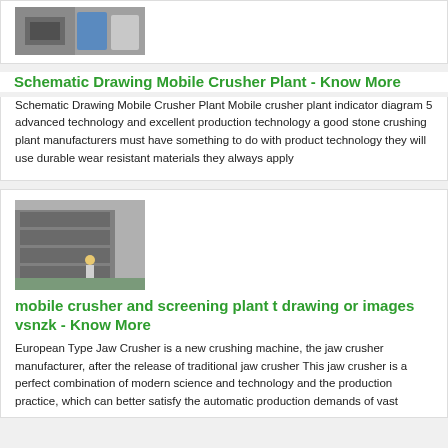[Figure (photo): Industrial machinery photo showing equipment and blue barrel]
Schematic Drawing Mobile Crusher Plant - Know More
Schematic Drawing Mobile Crusher Plant Mobile crusher plant indicator diagram 5 advanced technology and excellent production technology a good stone crushing plant manufacturers must have something to do with product technology they will use durable wear resistant materials they always apply
[Figure (photo): Industrial factory interior with large metal screening/crushing equipment and a worker in yellow hard hat]
mobile crusher and screening plant t drawing or images vsnzk - Know More
European Type Jaw Crusher is a new crushing machine, the jaw crusher manufacturer, after the release of traditional jaw crusher This jaw crusher is a perfect combination of modern science and technology and the production practice, which can better satisfy the automatic production demands of vast